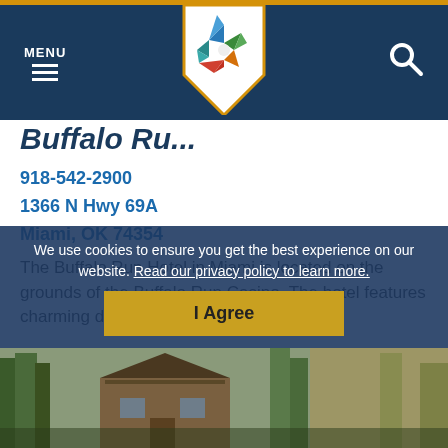MENU | [Logo] | [Search]
Buffalo Ru...
918-542-2900
1366 N Hwy 69A
Miami, OK 74354
The Buffalo Run Hotel in Miami is located on the grounds of the Buffalo Run Casino. The hotel features charming decor and...
MEHR LESEN >
We use cookies to ensure you get the best experience on our website. Read our privacy policy to learn more.
I Agree
[Figure (photo): Bottom portion of a webpage showing a log cabin or wooden house surrounded by trees]